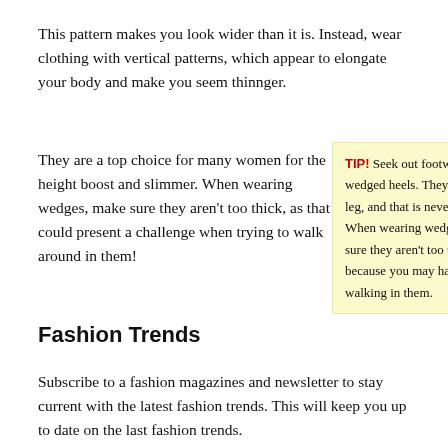This pattern makes you look wider than it is. Instead, wear clothing with vertical patterns, which appear to elongate your body and make you seem thinnger.
They are a top choice for many women for the height boost and slimmer. When wearing wedges, make sure they aren't too thick, as that could present a challenge when trying to walk around in them!
TIP! Seek out footwear with wedged heels. They extend the leg, and that is never a bad thing! When wearing wedges, make sure they aren't too thick, because you may have problems walking in them.
Fashion Trends
Subscribe to a fashion magazines and newsletter to stay current with the latest fashion trends. This will keep you up to date on the last fashion trends.